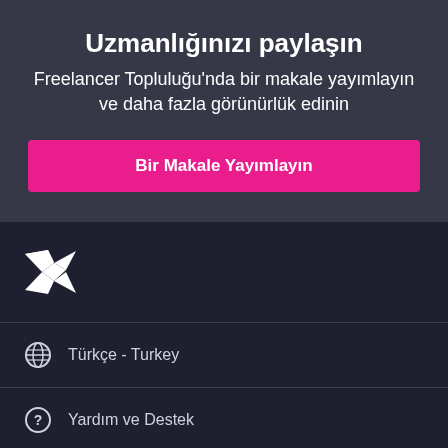Uzmanlığınızı paylaşın
Freelancer Topluluğu'nda bir makale yayımlayın ve daha fazla görünürlük edinin
Bir Makale Yayımlayın
[Figure (logo): Freelancer bird logo in white]
Türkçe - Turkey
Yardım ve Destek